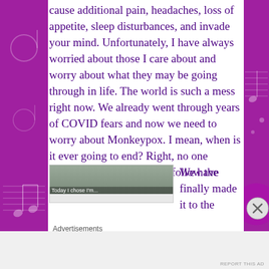cause additional pain, headaches, loss of appetite, sleep disturbances, and invade your mind. Unfortunately, I have always worried about those I care about and worry about what they may be going through in life. The world is such a mess right now. We already went through years of COVID fears and now we need to worry about Monkeypox. I mean, when is it ever going to end? Right, no one knows, so all we can do is follow the experts' advice.
[Figure (photo): Thumbnail image placeholder for an advertisement, with small text overlay reading 'Today I chose I'm...']
We have finally made it to the
Advertisements
REPORT THIS AD